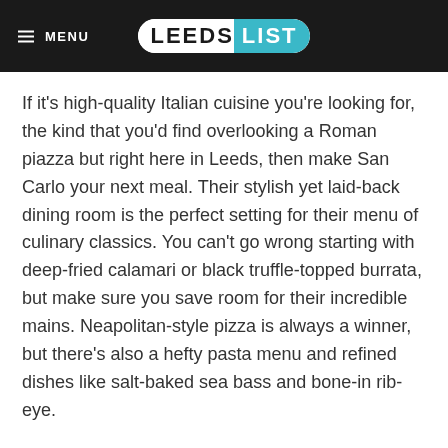MENU | LEEDS LIST
If it's high-quality Italian cuisine you're looking for, the kind that you'd find overlooking a Roman piazza but right here in Leeds, then make San Carlo your next meal. Their stylish yet laid-back dining room is the perfect setting for their menu of culinary classics. You can't go wrong starting with deep-fried calamari or black truffle-topped burrata, but make sure you save room for their incredible mains. Neapolitan-style pizza is always a winner, but there's also a hefty pasta menu and refined dishes like salt-baked sea bass and bone-in rib-eye.
San Carlo, 6-7 South Parade, Leeds, West Yorkshire, LS1 5QX